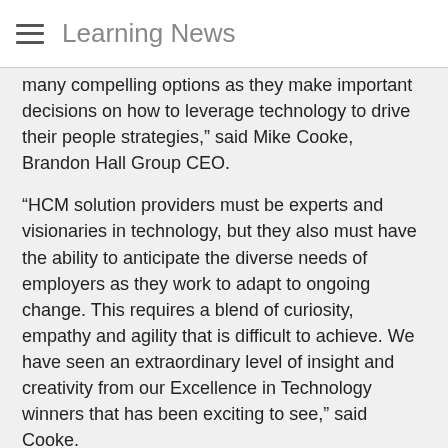Learning News
many compelling options as they make important decisions on how to leverage technology to drive their people strategies," said Mike Cooke, Brandon Hall Group CEO.
“HCM solution providers must be experts and visionaries in technology, but they also must have the ability to anticipate the diverse needs of employers as they work to adapt to ongoing change. This requires a blend of curiosity, empathy and agility that is difficult to achieve. We have seen an extraordinary level of insight and creativity from our Excellence in Technology winners that has been exciting to see,” said Cooke.
A panel of veteran, independent senior industry experts, and Brandon Hall Group senior analysts and executives evaluated the entries based upon the following criteria: